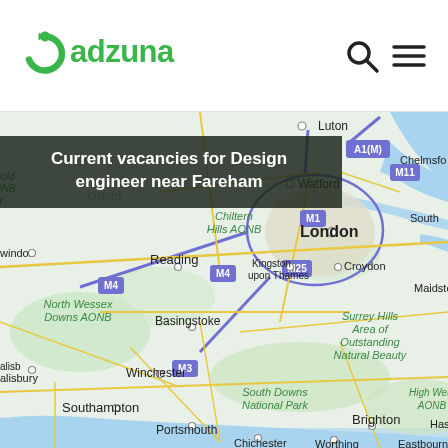adzuna
[Figure (map): Google Maps view centered on southern England showing London, Reading, Southampton, Portsmouth, Brighton, and surrounding areas including motorways M1, M3, M4, M11, M25, A1(M), and notable regions such as Chiltern Hills AONB, North Wessex Downs AONB, Surrey Hills Area of Outstanding Natural Beauty, South Downs National Park, and High Weald AONB. Cities visible include Luton, Watford, Chelmsford, Kingston upon Thames, Croydon, Maidstone, Basingstoke, Winchester, Salisbury, Southampton, Portsmouth, Chichester, Worthing, Brighton, Eastbourne, Hastings.]
Current vacancies for Design engineer near Fareham